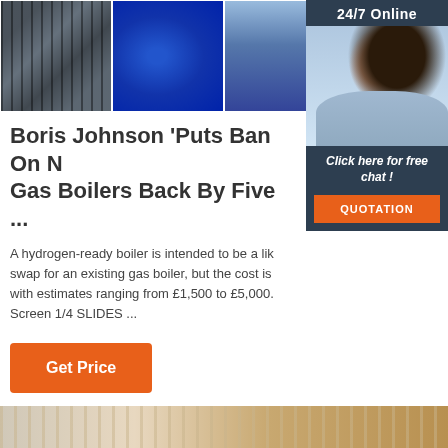[Figure (photo): Four industrial equipment photos side by side: industrial pipes/gauges, blue electric motor, blue industrial containers, blue boiler/tank]
[Figure (photo): 24/7 Online chat sidebar with photo of smiling woman with headset, 'Click here for free chat!' text and orange QUOTATION button]
Boris Johnson 'Puts Ban On New Gas Boilers Back By Five ...
A hydrogen-ready boiler is intended to be a like-for-like swap for an existing gas boiler, but the cost is higher, with estimates ranging from £1,500 to £5,000. Screen 1/4 SLIDES ...
[Figure (other): Orange 'Get Price' button]
[Figure (photo): Bottom strip showing industrial/construction material textures]